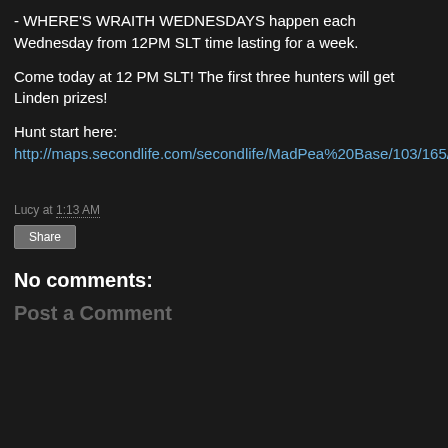- WHERE'S WRAITH WEDNESDAYS happen each Wednesday from 12PM SLT time lasting for a week.
Come today at 12 PM SLT! The first three hunters will get Linden prizes!
Hunt start here:
http://maps.secondlife.com/secondlife/MadPea%20Base/103/165/26
Lucy at 1:13 AM
Share
No comments:
Post a Comment